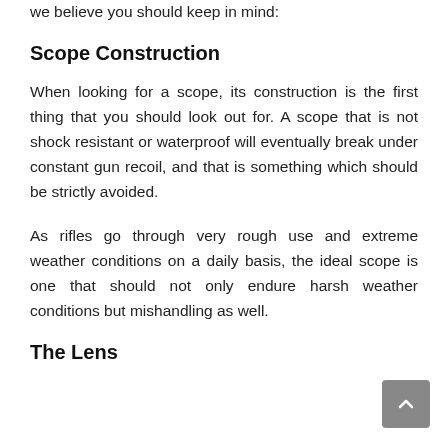we believe you should keep in mind:
Scope Construction
When looking for a scope, its construction is the first thing that you should look out for. A scope that is not shock resistant or waterproof will eventually break under constant gun recoil, and that is something which should be strictly avoided.
As rifles go through very rough use and extreme weather conditions on a daily basis, the ideal scope is one that should not only endure harsh weather conditions but mishandling as well.
The Lens